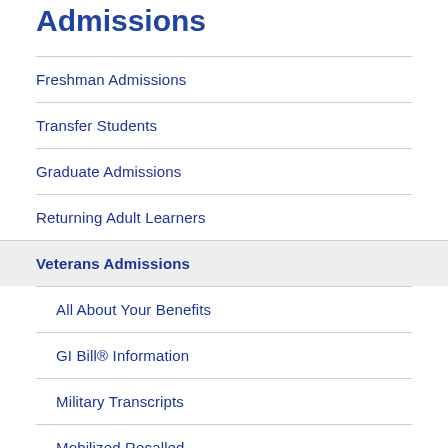Admissions
Freshman Admissions
Transfer Students
Graduate Admissions
Returning Adult Learners
Veterans Admissions
All About Your Benefits
GI Bill® Information
Military Transcripts
Mobilized Recalled